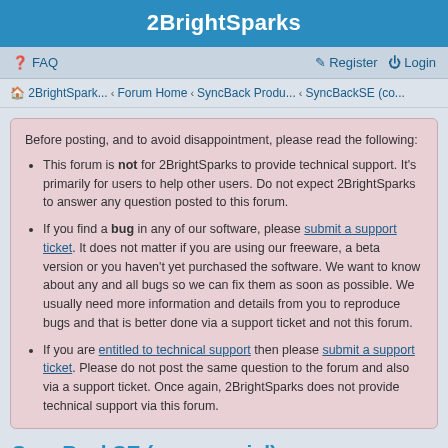2BrightSparks
FAQ   Register   Login
2BrightSpark... ‹ Forum Home ‹ SyncBack Produ... ‹ SyncBackSE (co...
Before posting, and to avoid disappointment, please read the following:
This forum is not for 2BrightSparks to provide technical support. It's primarily for users to help other users. Do not expect 2BrightSparks to answer any question posted to this forum.
If you find a bug in any of our software, please submit a support ticket. It does not matter if you are using our freeware, a beta version or you haven't yet purchased the software. We want to know about any and all bugs so we can fix them as soon as possible. We usually need more information and details from you to reproduce bugs and that is better done via a support ticket and not this forum.
If you are entitled to technical support then please submit a support ticket. Please do not post the same question to the forum and also via a support ticket. Once again, 2BrightSparks does not provide technical support via this forum.
SyncBackSE (commercial)